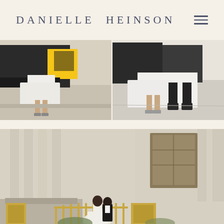DANIELLE HEINSON
[Figure (photo): Two side-by-side close-up photos of a bride in a white wedding dress stepping out of a black car (yellow taxi visible in left image), showing feet/shoes on pavement]
[Figure (photo): Wide photo of a couple (bride and groom in formal attire) walking along the exterior of a large stone building with columns and ornate architectural details]